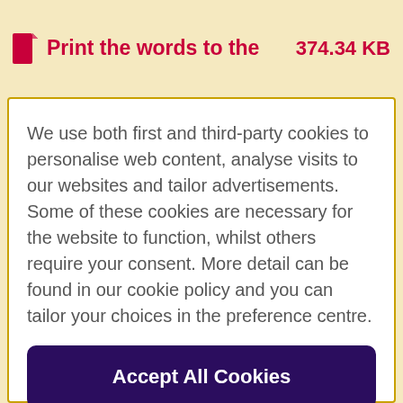Print the words to the ... 374.34 KB
We use both first and third-party cookies to personalise web content, analyse visits to our websites and tailor advertisements. Some of these cookies are necessary for the website to function, whilst others require your consent. More detail can be found in our cookie policy and you can tailor your choices in the preference centre.
Accept All Cookies
Cookies Settings